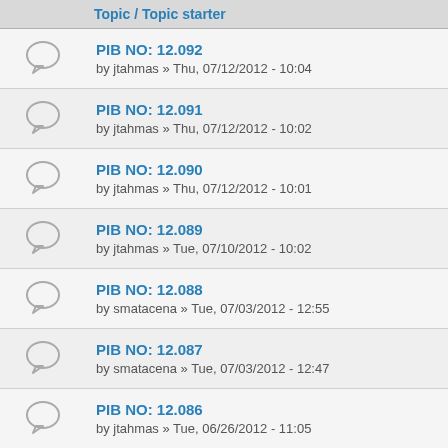Topic / Topic starter
PIB NO: 12.092
by jtahmas » Thu, 07/12/2012 - 10:04
PIB NO: 12.091
by jtahmas » Thu, 07/12/2012 - 10:02
PIB NO: 12.090
by jtahmas » Thu, 07/12/2012 - 10:01
PIB NO: 12.089
by jtahmas » Tue, 07/10/2012 - 10:02
PIB NO: 12.088
by smatacena » Tue, 07/03/2012 - 12:55
PIB NO: 12.087
by smatacena » Tue, 07/03/2012 - 12:47
PIB NO: 12.086
by jtahmas » Tue, 06/26/2012 - 11:05
PIB NO: 12.085
by jtahmas » Thu, 06/21/2012 - 07:34